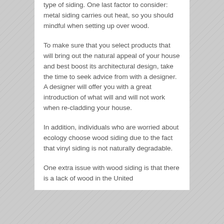type of siding. One last factor to consider: metal siding carries out heat, so you should mindful when setting up over wood.
To make sure that you select products that will bring out the natural appeal of your house and best boost its architectural design, take the time to seek advice from with a designer. A designer will offer you with a great introduction of what will and will not work when re-cladding your house.
In addition, individuals who are worried about ecology choose wood siding due to the fact that vinyl siding is not naturally degradable.
One extra issue with wood siding is that there is a lack of wood in the United